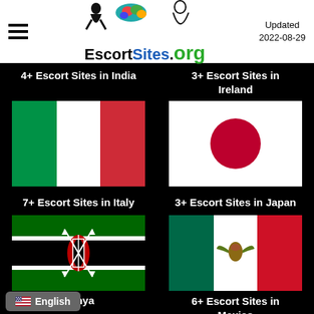EscortSites.org — Updated 2022-08-29
4+ Escort Sites in India
3+ Escort Sites in Ireland
[Figure (illustration): Flag of Italy — vertical tricolor: green, white, red]
[Figure (illustration): Flag of Japan — white background with red circle in center]
7+ Escort Sites in Italy
3+ Escort Sites in Japan
[Figure (illustration): Flag of Kenya — horizontal stripes: black, red, green with white borders and Maasai shield]
[Figure (illustration): Flag of Mexico — vertical tricolor: green, white, red with coat of arms in center]
Kenya
6+ Escort Sites in Mexico
English